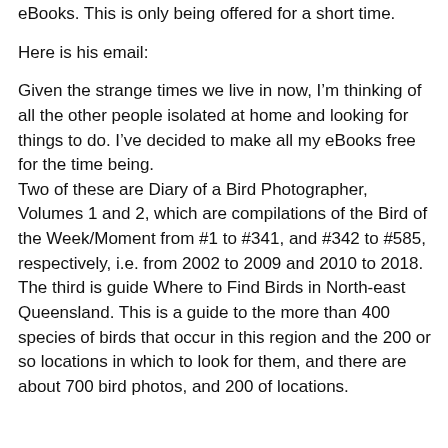eBooks. This is only being offered for a short time.
Here is his email:
Given the strange times we live in now, I'm thinking of all the other people isolated at home and looking for things to do. I've decided to make all my eBooks free for the time being.
Two of these are Diary of a Bird Photographer, Volumes 1 and 2, which are compilations of the Bird of the Week/Moment from #1 to #341, and #342 to #585, respectively, i.e. from 2002 to 2009 and 2010 to 2018. The third is guide Where to Find Birds in North-east Queensland. This is a guide to the more than 400 species of birds that occur in this region and the 200 or so locations in which to look for them, and there are about 700 bird photos, and 200 of locations.